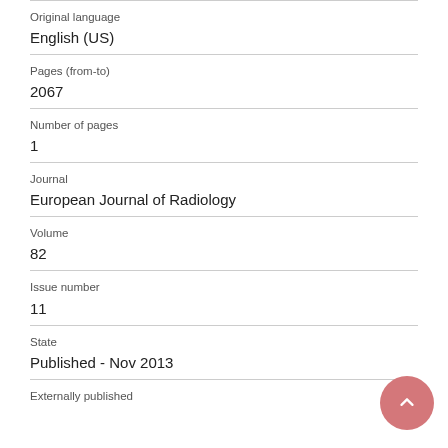Original language
English (US)
Pages (from-to)
2067
Number of pages
1
Journal
European Journal of Radiology
Volume
82
Issue number
11
State
Published - Nov 2013
Externally published